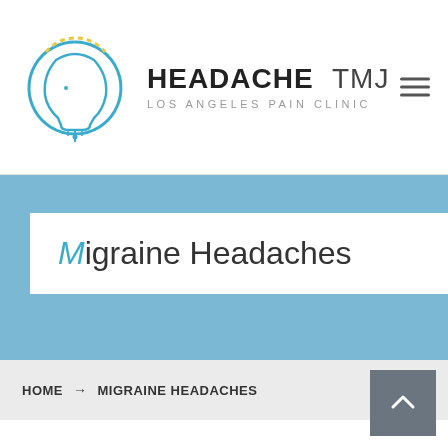[Figure (logo): Headache TMJ Los Angeles Pain Clinic logo with head silhouette icon]
Migraine Headaches
HOME → MIGRAINE HEADACHES